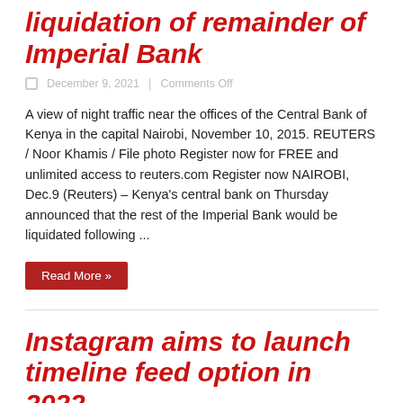liquidation of remainder of Imperial Bank
December 9, 2021   |   Comments Off
A view of night traffic near the offices of the Central Bank of Kenya in the capital Nairobi, November 10, 2015. REUTERS / Noor Khamis / File photo Register now for FREE and unlimited access to reuters.com Register now NAIROBI, Dec.9 (Reuters) – Kenya's central bank on Thursday announced that the rest of the Imperial Bank would be liquidated following ...
Read More »
Instagram aims to launch timeline feed option in 2022